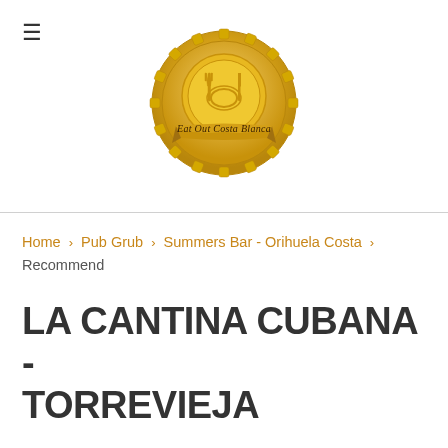[Figure (logo): Eat Out Costa Blanca gold badge/seal logo with fork, plate, and knife icons and a ribbon banner reading 'Eat Out Costa Blanca']
Home > Pub Grub > Summers Bar - Orihuela Costa > Recommend
LA CANTINA CUBANA - TORREVIEJA
LISTING DETAILS